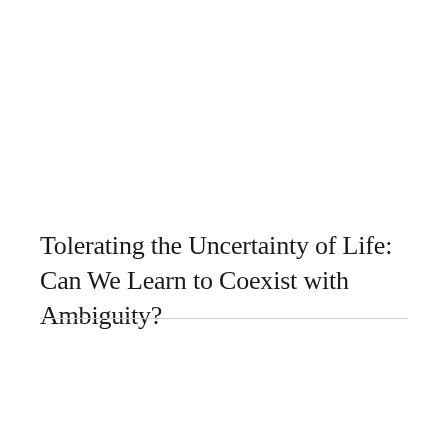Tolerating the Uncertainty of Life: Can We Learn to Coexist with Ambiguity?